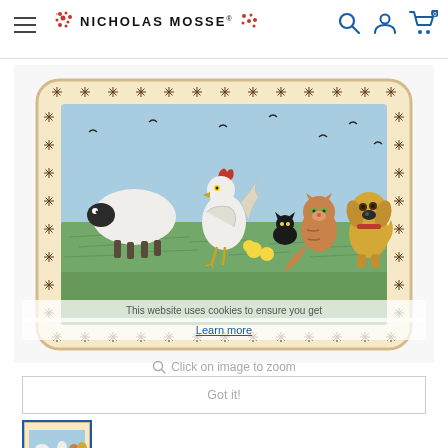NICHOLAS MOSSE® — navigation header with hamburger menu, search, account, cart icons
[Figure (photo): Nicholas Mosse pottery rectangular serving tray/platter with hand-painted farm scene: sheep, rooster/chicken, cat, dog, and birds on green and blue background, decorative floral border pattern in brown on cream ceramic]
This website uses cookies to ensure you get the best experience.
Learn more
Click on image to zoom
Got it!
[Figure (photo): Small thumbnail image of the same Nicholas Mosse rectangular tray with farm animals]